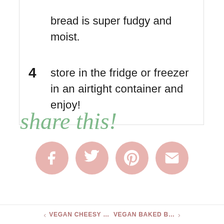bread is super fudgy and moist.
4  store in the fridge or freezer in an airtight container and enjoy!
share this!
[Figure (infographic): Four pink circular social media share buttons: Facebook, Twitter, Pinterest, Email]
< VEGAN CHEESY … VEGAN BAKED B… >